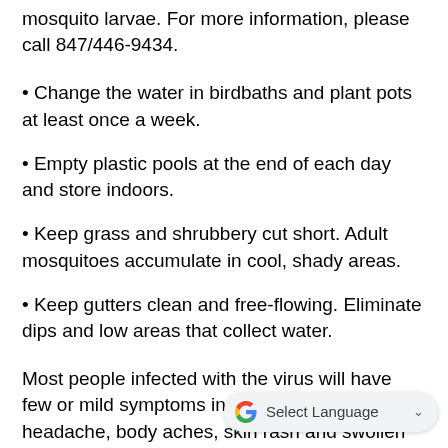mosquito larvae. For more information, please call 847/446-9434.
• Change the water in birdbaths and plant pots at least once a week.
• Empty plastic pools at the end of each day and store indoors.
• Keep grass and shrubbery cut short. Adult mosquitoes accumulate in cool, shady areas.
• Keep gutters clean and free-flowing. Eliminate dips and low areas that collect water.
Most people infected with the virus will have few or mild symptoms including fever, headache, body aches, skin rash and swollen lymph nodes. Severe infections can cause high fever, stiff neck, disc… weakness and, rarely, death. Symptoms generally